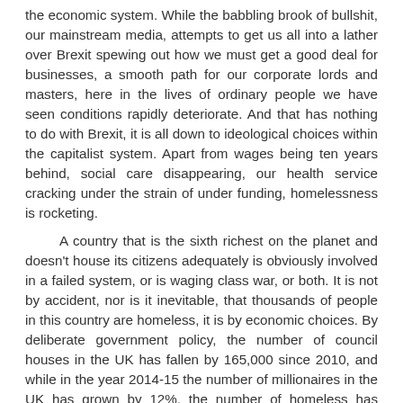the economic system. While the babbling brook of bullshit, our mainstream media, attempts to get us all into a lather over Brexit spewing out how we must get a good deal for businesses, a smooth path for our corporate lords and masters, here in the lives of ordinary people we have seen conditions rapidly deteriorate. And that has nothing to do with Brexit, it is all down to ideological choices within the capitalist system. Apart from wages being ten years behind, social care disappearing, our health service cracking under the strain of under funding, homelessness is rocketing.

A country that is the sixth richest on the planet and doesn't house its citizens adequately is obviously involved in a failed system, or is waging class war, or both. It is not by accident, nor is it inevitable, that thousands of people in this country are homeless, it is by economic choices. By deliberate government policy, the number of council houses in the UK has fallen by 165,000 since 2010, and while in the year 2014-15 the number of millionaires in the UK has grown by 12%, the number of homeless has grown by 34% since 2010. In capitalism, we live under a system of extreme inequality and injustice, it can't be remedy to improve the lives of all, it can't be modified to be compassionate and fair,